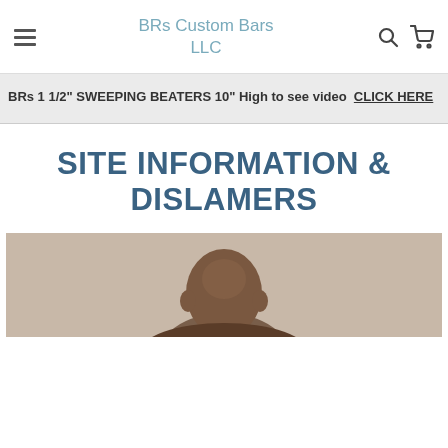BRs Custom Bars LLC
BRs 1 1/2" SWEEPING BEATERS 10" High to see video  CLICK HERE
SITE INFORMATION & DISLAMERS
[Figure (photo): A person (head and upper torso) photographed against a light beige/tan background. The top of the photo is partially cut off at the bottom of the page.]